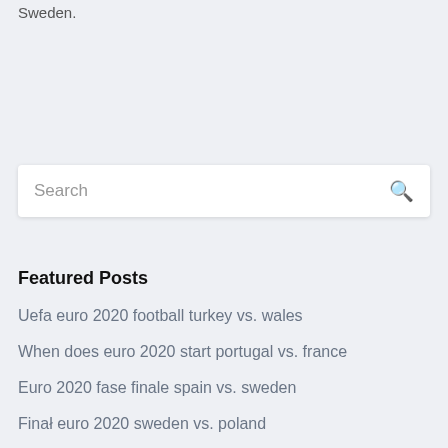Sweden.
[Figure (screenshot): Search input box with placeholder text 'Search' and a search icon on the right]
Featured Posts
Uefa euro 2020 football turkey vs. wales
When does euro 2020 start portugal vs. france
Euro 2020 fase finale spain vs. sweden
Finał euro 2020 sweden vs. poland